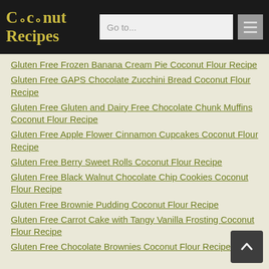Coconut Recipes — Go to... navigation header
Gluten Free Frozen Banana Cream Pie Coconut Flour Recipe
Gluten Free GAPS Chocolate Zucchini Bread Coconut Flour Recipe
Gluten Free Gluten and Dairy Free Chocolate Chunk Muffins Coconut Flour Recipe
Gluten Free Apple Flower Cinnamon Cupcakes Coconut Flour Recipe
Gluten Free Berry Sweet Rolls Coconut Flour Recipe
Gluten Free Black Walnut Chocolate Chip Cookies Coconut Flour Recipe
Gluten Free Brownie Pudding Coconut Flour Recipe
Gluten Free Carrot Cake with Tangy Vanilla Frosting Coconut Flour Recipe
Gluten Free Chocolate Brownies Coconut Flour Recipe